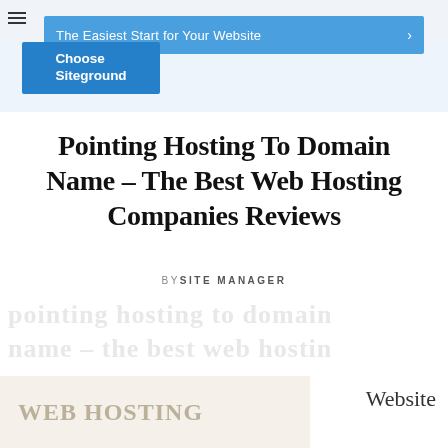The Easiest Start for Your Website  >  Choose Siteground
Pointing Hosting To Domain Name – The Best Web Hosting Companies Reviews
BY SITE MANAGER
[Figure (other): Faded watermark/ghost text lines in background]
[Figure (other): Bottom partial image showing WEB HOSTING text and Website label]